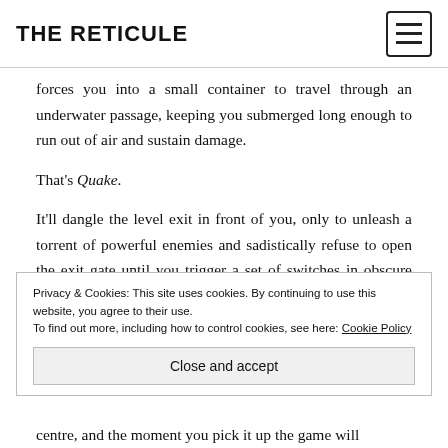THE RETICULE
forces you into a small container to travel through an underwater passage, keeping you submerged long enough to run out of air and sustain damage.
That's Quake.
It'll dangle the level exit in front of you, only to unleash a torrent of powerful enemies and sadistically refuse to open the exit gate until you trigger a set of switches in obscure places.
Privacy & Cookies: This site uses cookies. By continuing to use this website, you agree to their use. To find out more, including how to control cookies, see here: Cookie Policy
Close and accept
centre, and the moment you pick it up the game will